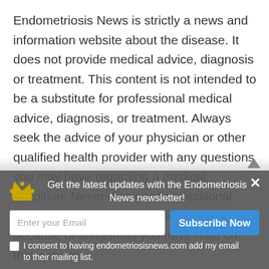Endometriosis News is strictly a news and information website about the disease. It does not provide medical advice, diagnosis or treatment. This content is not intended to be a substitute for professional medical advice, diagnosis, or treatment. Always seek the advice of your physician or other qualified health provider with any questions you may have regarding a medical condition. Never disregard professional medical advice or delay in seeking it because of something you have read on this website.
Get the latest updates with the Endometriosis News newsletter!
Enter your Email
Subscribe Now
I consent to having endometriosisnews.com add my email to their mailing list.